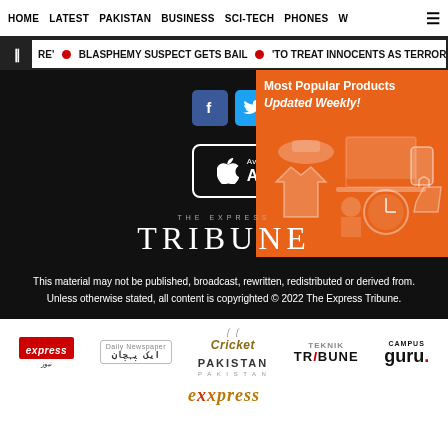HOME  LATEST  PAKISTAN  BUSINESS  SCI-TECH  PHONES  W  ☰
‖  RE'  BLASPHEMY SUSPECT GETS BAIL  'TO TREAT INNOCENTS AS TERRORIST
[Figure (screenshot): Social media icons: Facebook (blue), Twitter (blue), YouTube (red). App Store download button on dark background. Orange advertisement box with 'Most Popular Products Updated Weekly!' text and shopping icons.]
[Figure (logo): The Express Tribune logo in white on black background - small 'THE EXPRESS' text above large 'TRIBUNE' in serif font]
This material may not be published, broadcast, rewritten, redistributed or derived from. Unless otherwise stated, all content is copyrighted © 2022 The Express Tribune.
[Figure (logo): Express News logo (red background with white text, Urdu subtitle)]
[Figure (logo): Aik Pakistan / Aik Pehchan logo]
[Figure (logo): Cricket Pakistan logo with golden cursive text]
[Figure (logo): Tech Tribune logo]
[Figure (logo): Campus Guru logo]
[Figure (logo): Express gold/orange stylized logo at bottom]